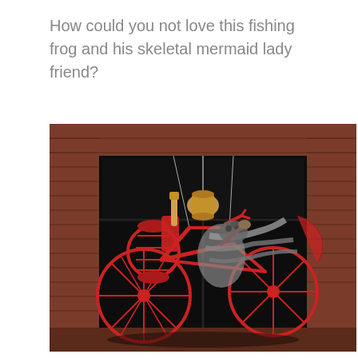How could you not love this fishing frog and his skeletal mermaid lady friend?
[Figure (photo): Photo of a red metal bicycle/tricycle decorated figure (a fishing frog with skeletal mermaid) suspended in front of a brick building with large dark windows. The sculpture features red wire wheels, red lantern-like baskets, and grey draped fabric on the figure.]